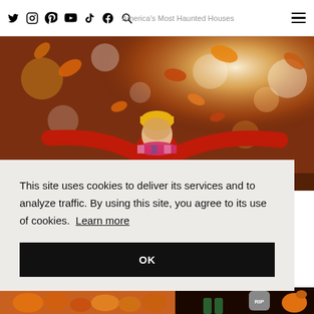Twitter, Instagram, Pinterest, YouTube, TikTok, Facebook, Search — America's Most Haunted Houses
[Figure (photo): Child in red sweater and yellow hat throwing autumn leaves in the air, blurred bokeh background of fall trees with sunlight]
This site uses cookies to deliver its services and to analyze traffic. By using this site, you agree to its use of cookies. Learn more
OK